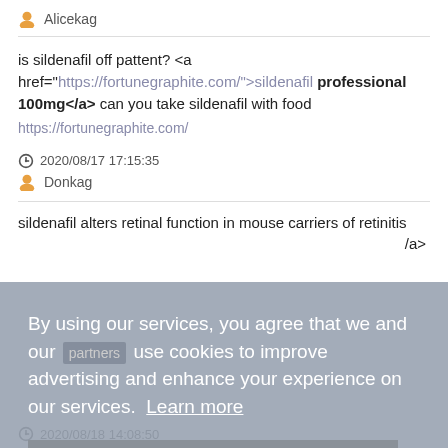Alicekag
is sildenafil off pattent? <a href="https://fortunegraphite.com/">sildenafil professional 100mg</a> can you take sildenafil with food https://fortunegraphite.com/
2020/08/17 17:15:35
Donkag
sildenafil alters retinal function in mouse carriers of retinitis ... /a>
[Figure (screenshot): Cookie consent overlay with text: By using our services, you agree that we and our [partners] use cookies to improve advertising and enhance your experience on our services. Learn more. And an OK button.]
2020/08/18 14:08:50